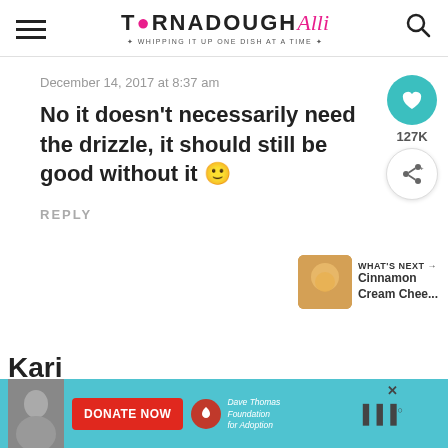[Figure (logo): Tornadough Alli website logo with hamburger menu and search icon in header]
December 14, 2017 at 8:37 am
No it doesn't necessarily need the drizzle, it should still be good without it 🙂
REPLY
127K
WHAT'S NEXT → Cinnamon Cream Chee...
Kari
[Figure (screenshot): Advertisement banner: Donate Now button for Dave Thomas Foundation for Adoption with teal background and photo]